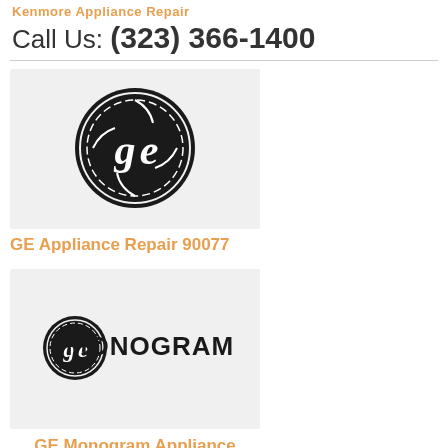Kenmore Appliance Repair
Call Us: (323) 366-1400
[Figure (logo): GE logo — black circle with stylized GE monogram in white, on light gray background]
GE Appliance Repair 90077
[Figure (logo): GE Monogram logo — small GE circle emblem next to MONOGRAM text in black, on light gray background]
GE Monogram Appliance Repair 90077